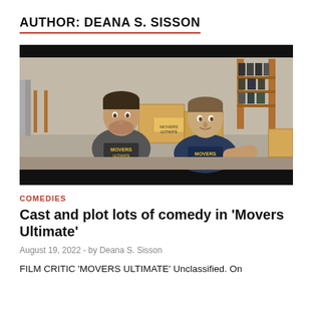AUTHOR: DEANA S. SISSON
[Figure (photo): Two men in grey and navy sleeveless shirts with yellow logo sitting in a warehouse/storage area with boxes and shelving in the background. Black bars at top and bottom of frame.]
COMEDIES
Cast and plot lots of comedy in 'Movers Ultimate'
August 19, 2022  -  by Deana S. Sisson
FILM CRITIC 'MOVERS ULTIMATE' Unclassified. On